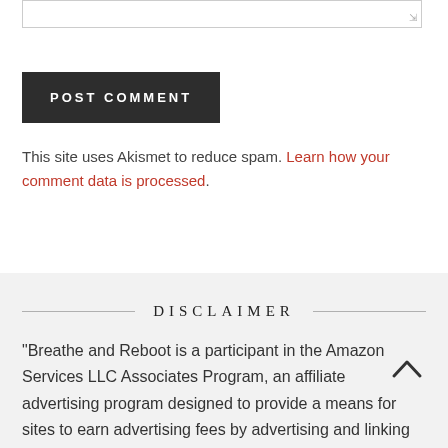POST COMMENT
This site uses Akismet to reduce spam. Learn how your comment data is processed.
DISCLAIMER
“Breathe and Reboot is a participant in the Amazon Services LLC Associates Program, an affiliate advertising program designed to provide a means for sites to earn advertising fees by advertising and linking to amazon.com